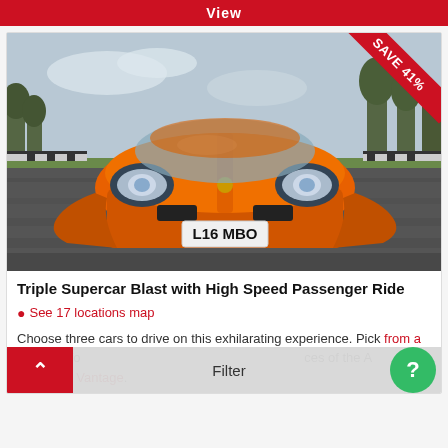View
[Figure (photo): Front view of an orange Lamborghini Gallardo (plate L16 MBO) driving on a race track at speed, with motion blur on the asphalt. A 'SAVE 41%' red diagonal banner in the top-right corner.]
Triple Supercar Blast with High Speed Passenger Ride
See 17 locations map
Choose three cars to drive on this exhilarating experience. Pick from a list of perfo... ces of the A Martin V8 Vantage...